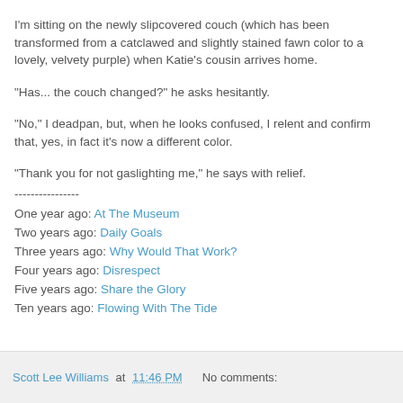I'm sitting on the newly slipcovered couch (which has been transformed from a catclawed and slightly stained fawn color to a lovely, velvety purple) when Katie's cousin arrives home.
"Has... the couch changed?" he asks hesitantly.
"No," I deadpan, but, when he looks confused, I relent and confirm that, yes, in fact it's now a different color.
"Thank you for not gaslighting me," he says with relief.
----------------
One year ago: At The Museum
Two years ago: Daily Goals
Three years ago: Why Would That Work?
Four years ago: Disrespect
Five years ago: Share the Glory
Ten years ago: Flowing With The Tide
Scott Lee Williams at 11:46 PM   No comments: